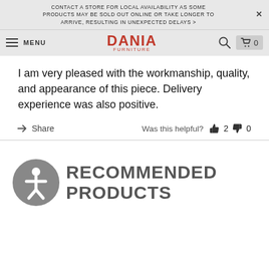CONTACT A STORE FOR LOCAL AVAILABILITY AS SOME PRODUCTS MAY BE SOLD OUT ONLINE OR TAKE LONGER TO ARRIVE, RESULTING IN UNEXPECTED DELAYS >
[Figure (screenshot): Dania Furniture website navigation bar with hamburger menu, MENU label, Dania Furniture logo in red, search icon, and cart icon with 0 items]
I am very pleased with the workmanship, quality, and appearance of this piece. Delivery experience was also positive.
Share   Was this helpful?  👍 2  👎 0
RECOMMENDED PRODUCTS